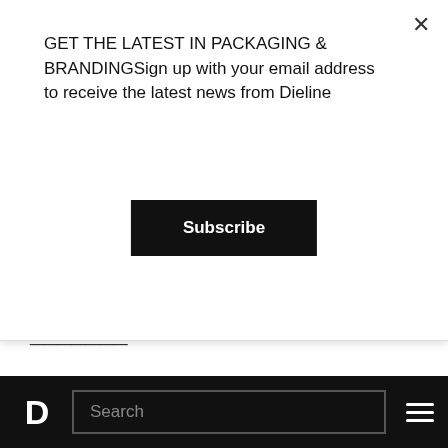GET THE LATEST IN PACKAGING & BRANDINGSign up with your email address to receive the latest news from Dieline
Subscribe
Gregg: Amazon's logistical juggernaut and access to consumer data will add more dimensions to the purchasing experience. People still seek a human-driven experience and Amazon should do everything to ensure its consumers its brick and mortar presence is about accessibility and enhancement; there is no sacrifice or subtracting with its newfound
D  Search  ☰